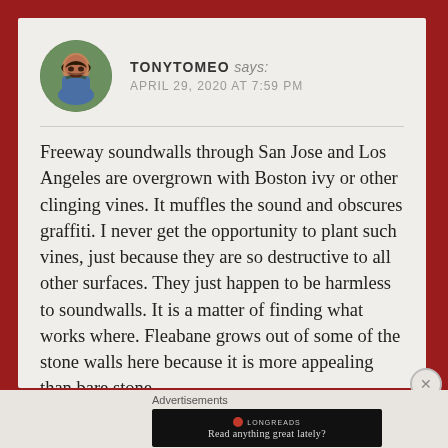[Figure (photo): Circular avatar photo of a man with a mustache, wearing a blue shirt, outdoors with green background]
TONYTOMEO says: APRIL 29, 2020 AT 7:59 PM
Freeway soundwalls through San Jose and Los Angeles are overgrown with Boston ivy or other clinging vines. It muffles the sound and obscures graffiti. I never get the opportunity to plant such vines, just because they are so destructive to all other surfaces. They just happen to be harmless to soundwalls. It is a matter of finding what works where. Fleabane grows out of some of the stone walls here because it is more appealing than bare stone.
Advertisements
[Figure (screenshot): Black advertisement banner for Longreads with text 'Read anything great lately?']